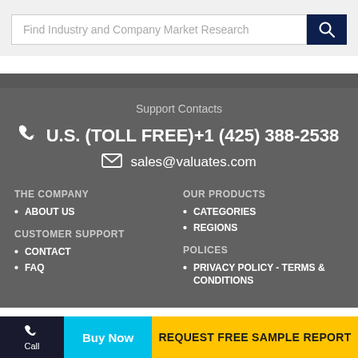Find Industry and Company Market Research
Support Contacts
U.S. (TOLL FREE)+1 (425) 388-2538
sales@valuates.com
THE COMPANY
ABOUT US
CUSTOMER SUPPORT
CONTACT
FAQ
OUR PRODUCTS
CATEGORIES
REGIONS
POLICES
PRIVACY POLICY - TERMS & CONDITIONS
Call | Buy Now | REQUEST FREE SAMPLE REPORT